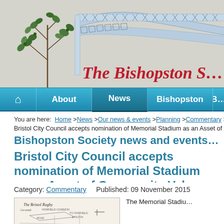[Figure (illustration): Bishopston Society website header with trellis/pavilion architectural drawing and ivy plant illustration]
The Bishopston S…
Home | About | News | Bishopston | [more]
You are here: Home >News >Our news & events >Planning >Commentary >
Bristol City Council accepts nomination of Memorial Stadium as an Asset of Commun…
Bishopston Society news and events…
Bristol City Council accepts nomination of Memorial Stadium as an Asset of Community Valu…
Category: Commentary    Published: 09 November 2015
[Figure (illustration): Old map/sketch of The Bristol Rugby ground area]
The Memorial Stadiu…